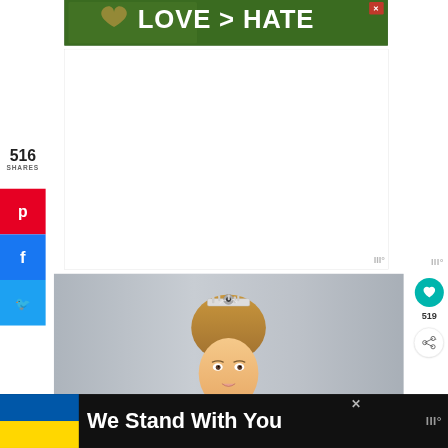[Figure (photo): Top banner advertisement: hands forming a heart shape against a green background with text 'LOVE > HATE' in white, with an X close button]
516
SHARES
[Figure (infographic): Pinterest share button (red background with P icon)]
[Figure (infographic): Facebook share button (blue background with f icon)]
[Figure (infographic): Twitter share button (light blue background with bird icon)]
[Figure (photo): Photo of a Barbie/princess doll head with an updo hairstyle and a tiara/crown, soft gray background]
519
[Figure (infographic): Bottom banner advertisement: Ukrainian flag colors (blue and yellow) with text 'We Stand With You' on black background, with a close X button and wt logo]
We Stand With You